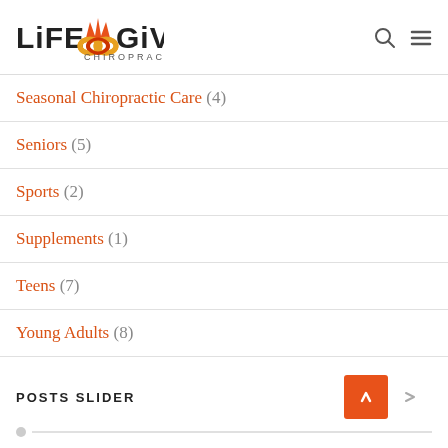[Figure (logo): Life Giving Chiropractic logo with stylized crown/rings in red, orange and gold colors]
Seasonal Chiropractic Care (4)
Seniors (5)
Sports (2)
Supplements (1)
Teens (7)
Young Adults (8)
POSTS SLIDER